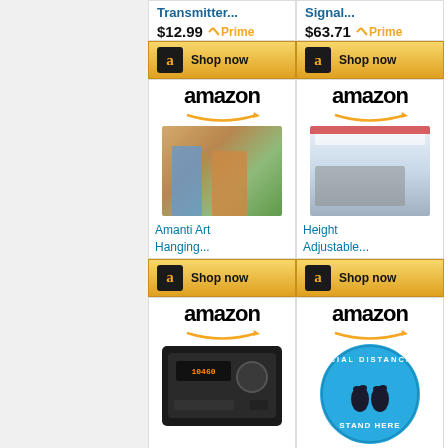[Figure (screenshot): Amazon ad grid showing product listings: Transmitter ($12.99 Prime), Signal ($63.71 Prime) with Shop now buttons; Amanti Art Hanging... and Height Adjustable... products with Amazon logos and Shop now buttons; bottom row shows amazon logos with radio and social distancing floor sticker products]
$12.99
$63.71
Transmitter...
Signal...
Amanti Art Hanging...
Height Adjustable...